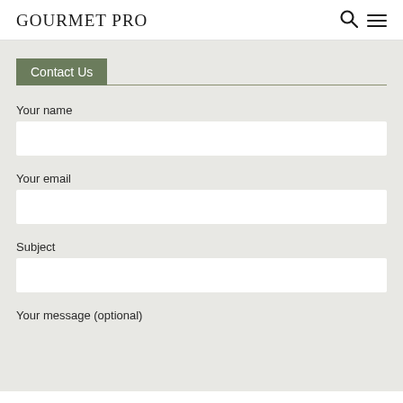GOURMET PRO
Contact Us
Your name
Your email
Subject
Your message (optional)